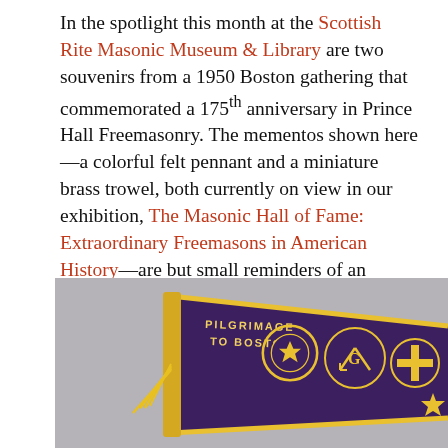In the spotlight this month at the Scottish Rite Masonic Museum & Library are two souvenirs from a 1950 Boston gathering that commemorated a 175th anniversary in Prince Hall Freemasonry. The mementos shown here—a colorful felt pennant and a miniature brass trowel, both currently on view in our exhibition, The Masonic Hall of Fame: Extraordinary Freemasons in American History—are but small reminders of an important development in American Masonic history.
[Figure (photo): A dark purple felt pennant reading 'PILGRIMAGE TO BOSTON' with yellow fringe and Masonic emblems including a Shriner crescent/scimitar symbol, a square and compass, and other Masonic order symbols, displayed against a light gray background.]